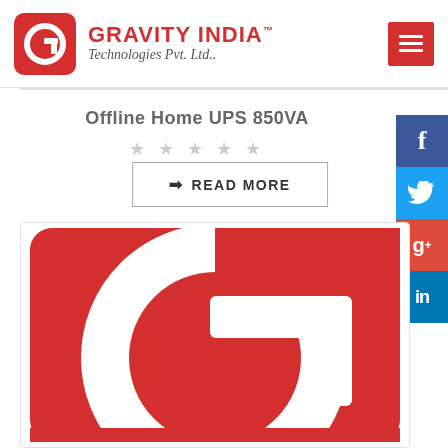[Figure (logo): Gravity India Technologies Pvt. Ltd. logo — red rounded square with white G icon, company name in red bold caps, subtitle in grey italic]
Offline Home UPS 850VA
★★★★★ (star rating, empty/grey)
➡ READ MORE
[Figure (logo): Large Gravity India Technologies Pvt. Ltd. logo — red rounded rectangle background with large white G letter/arc design]